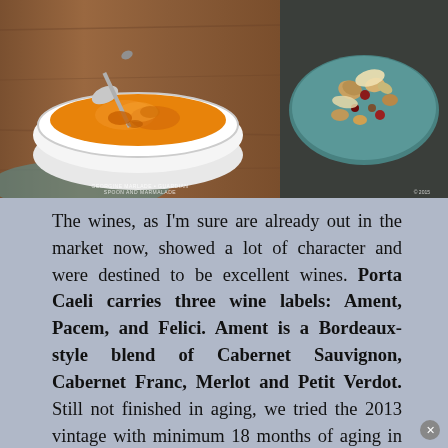[Figure (photo): Two food photos side by side: left shows a white bowl with orange jam/marmalade and a spoon on a wooden surface; right shows a teal plate with mixed nuts and dried fruits.]
The wines, as I'm sure are already out in the market now, showed a lot of character and were destined to be excellent wines. Porta Caeli carries three wine labels: Ament, Pacem, and Felici. Ament is a Bordeaux-style blend of Cabernet Sauvignon, Cabernet Franc, Merlot and Petit Verdot. Still not finished in aging, we tried the 2013 vintage with minimum 18 months of aging in oak. It had a deep, dark and impenetrable ruby red color with a